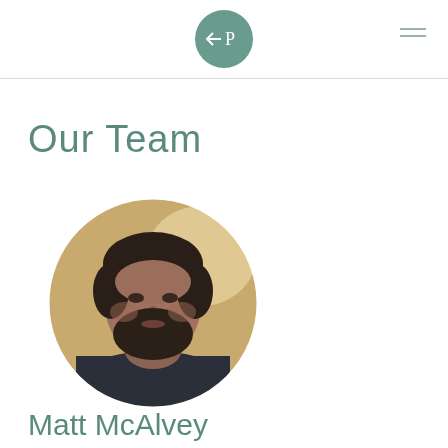Our Team
[Figure (photo): Circular headshot photo of Matt McAlvey — a bearded man with dark hair wearing a dark navy polo shirt, photographed indoors with warm blurred background]
Matt McAlvey